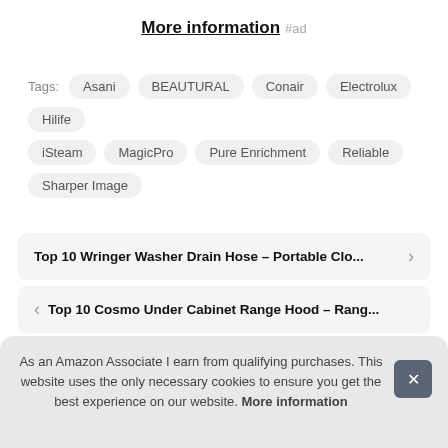More information #ad
Tags: Asani BEAUTURAL Conair Electrolux Hilife iSteam MagicPro Pure Enrichment Reliable Sharper Image
Top 10 Wringer Washer Drain Hose – Portable Clo...
Top 10 Cosmo Under Cabinet Range Hood – Rang...
As an Amazon Associate I earn from qualifying purchases. This website uses the only necessary cookies to ensure you get the best experience on our website. More information